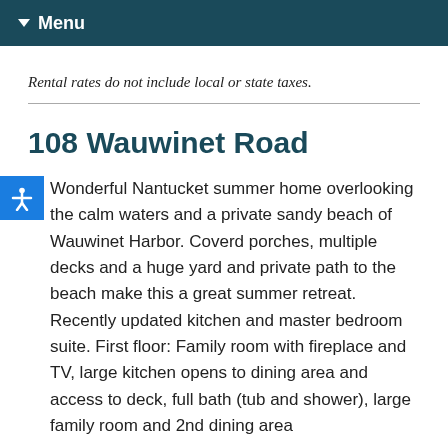▼ Menu
Rental rates do not include local or state taxes.
108 Wauwinet Road
Wonderful Nantucket summer home overlooking the calm waters and a private sandy beach of Wauwinet Harbor. Coverd porches, multiple decks and a huge yard and private path to the beach make this a great summer retreat. Recently updated kitchen and master bedroom suite. First floor: Family room with fireplace and TV, large kitchen opens to dining area and access to deck, full bath (tub and shower), large family room and 2nd dining area